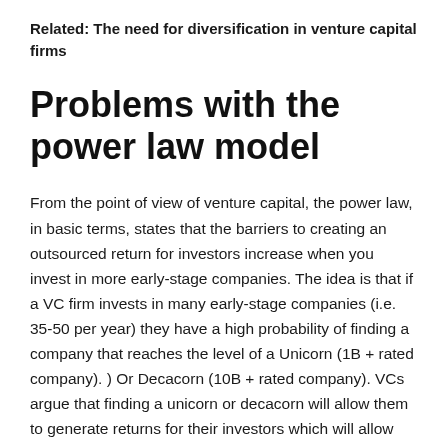Related: The need for diversification in venture capital firms
Problems with the power law model
From the point of view of venture capital, the power law, in basic terms, states that the barriers to creating an outsourced return for investors increase when you invest in more early-stage companies. The idea is that if a VC firm invests in many early-stage companies (i.e. 35-50 per year) they have a high probability of finding a company that reaches the level of a Unicorn (1B + rated company). ) Or Decacorn (10B + rated company). VCs argue that finding a unicorn or decacorn will allow them to generate returns for their investors which will allow